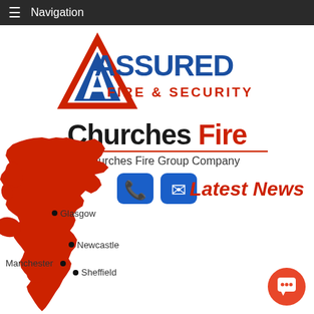Navigation
[Figure (logo): Assured Fire & Security logo — red triangle with A inside, blue bold text ASSURED, red text FIRE & SECURITY]
[Figure (logo): Churches Fire logo — bold dark text 'Churches' and red bold text 'Fire', red underline, subtext 'A Churches Fire Group Company', phone and email icon buttons]
A Churches Fire Group Company
Latest News
[Figure (map): Red silhouette map of Great Britain with black dots and labels for Glasgow, Newcastle, Manchester, Sheffield]